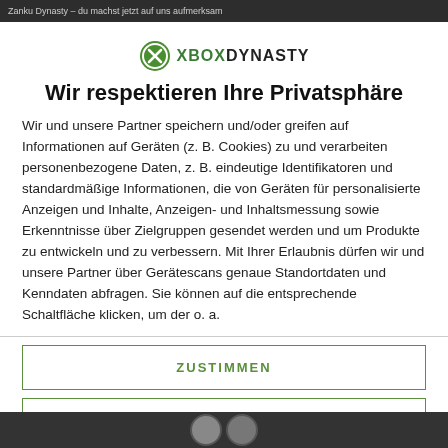Zanku Dynasty – du machst jetzt auf uns aufmerksam
[Figure (logo): Xbox Dynasty logo: green circular icon with X and D, followed by bold text XBOXDYNASTY]
Wir respektieren Ihre Privatsphäre
Wir und unsere Partner speichern und/oder greifen auf Informationen auf Geräten (z. B. Cookies) zu und verarbeiten personenbezogene Daten, z. B. eindeutige Identifikatoren und standardmäßige Informationen, die von Geräten für personalisierte Anzeigen und Inhalte, Anzeigen- und Inhaltsmessung sowie Erkenntnisse über Zielgruppen gesendet werden und um Produkte zu entwickeln und zu verbessern. Mit Ihrer Erlaubnis dürfen wir und unsere Partner über Gerätescans genaue Standortdaten und Kenndaten abfragen. Sie können auf die entsprechende Schaltfläche klicken, um der o. a.
ZUSTIMMEN
MEHR OPTIONEN